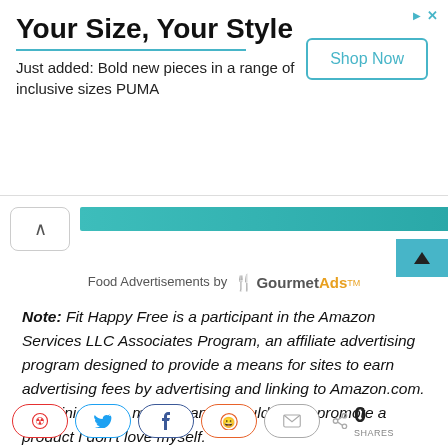[Figure (screenshot): Advertisement banner: 'Your Size, Your Style' with subtitle 'Just added: Bold new pieces in a range of inclusive sizes PUMA' and a 'Shop Now' button]
[Figure (screenshot): Navigation chevron button and teal progress/tab bar with scroll indicator]
Food Advertisements by GourmetAds
Note: Fit Happy Free is a participant in the Amazon Services LLC Associates Program, an affiliate advertising program designed to provide a means for sites to earn advertising fees by advertising and linking to Amazon.com. All opinions are my own and I would never promote a product I don't love myself.
[Figure (screenshot): Social share buttons: Pinterest, Twitter, Facebook, Reddit, Email, and share count showing 0 SHARES]